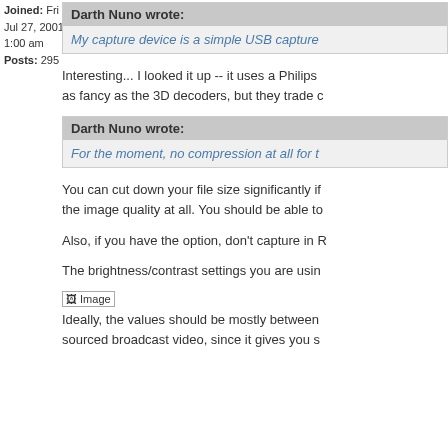Joined: Fri Jul 27, 2001 1:00 am
Posts: 295
Darth Nuno wrote:
My capture device is a simple USB capture...
Interesting... I looked it up -- it uses a Philips ... as fancy as the 3D decoders, but they trade c...
Darth Nuno wrote:
For the moment, no compression at all for t...
You can cut down your file size significantly if... the image quality at all. You should be able to...
Also, if you have the option, don't capture in R...
The brightness/contrast settings you are usin...
[Figure (screenshot): Image placeholder icon]
Ideally, the values should be mostly between... sourced broadcast video, since it gives you s...